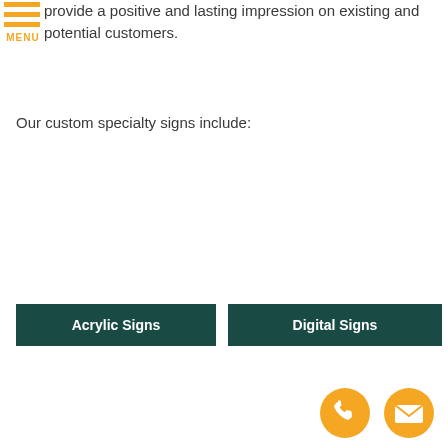[Figure (logo): Orange hamburger menu icon with three horizontal bars and MENU label]
provide a positive and lasting impression on existing and potential customers.
Our custom specialty signs include:
[Figure (photo): Photo of Acrylic Signs (image area)]
[Figure (photo): Photo of Digital Signs (image area)]
Acrylic Signs
Digital Signs
[Figure (photo): Bottom left photo area]
[Figure (photo): Bottom right photo area]
[Figure (illustration): Orange circular phone contact icon]
[Figure (illustration): Orange circular email/envelope contact icon]